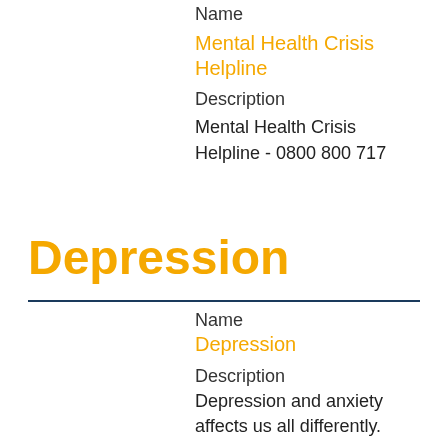Name
Mental Health Crisis Helpline
Description
Mental Health Crisis Helpline - 0800 800 717
Depression
Name
Depression
Description
Depression and anxiety affects us all differently.